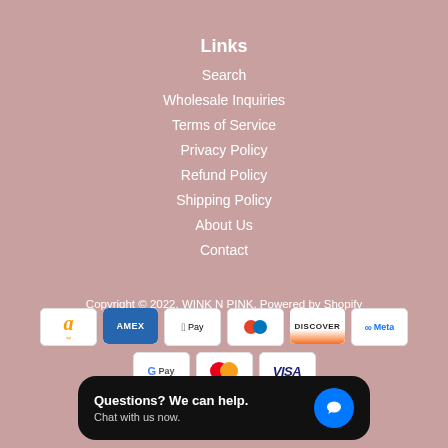Links
Search
Wholesale Inquiries
Terms of Service
Privacy Policy
Refund Policy
Shipping Policy
About Us
Contact
Copyright © 2022, WINK N PINK. Powered by Shopify
[Figure (other): Payment method icons: Amazon, American Express, Apple Pay, Diners Club, Discover, Meta Pay, Google Pay, Mastercard, Visa]
[Figure (other): Chat popup overlay: Questions? We can help. Chat with us now. with blue chat bubble icon]